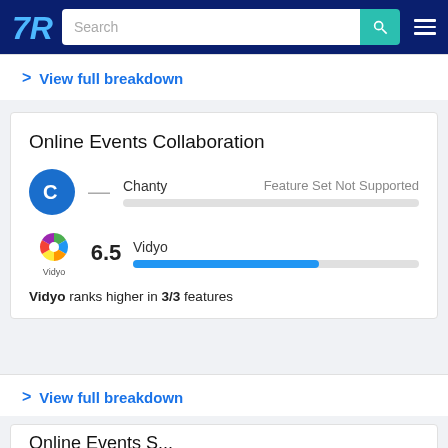TrustRadius navigation bar with search
> View full breakdown
Online Events Collaboration
Chanty — Feature Set Not Supported
Vidyo 6.5
Vidyo ranks higher in 3/3 features
> View full breakdown
Online Events S...